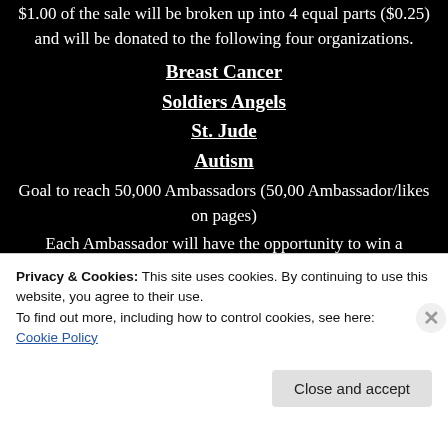$1.00 of the sale will be broken up into 4 equal parts ($0.25) and will be donated to the following four organizations.
Breast Cancer
Soldiers Angels
St. Jude
Autism
Goal to reach 50,000 Ambassadors (50,00 Ambassador/likes on pages)
Each Ambassador will have the opportunity to win a prize/swag every sixty days.
Contact information
DLCS Facebook Page
Privacy & Cookies: This site uses cookies. By continuing to use this website, you agree to their use.
To find out more, including how to control cookies, see here: Cookie Policy
Close and accept